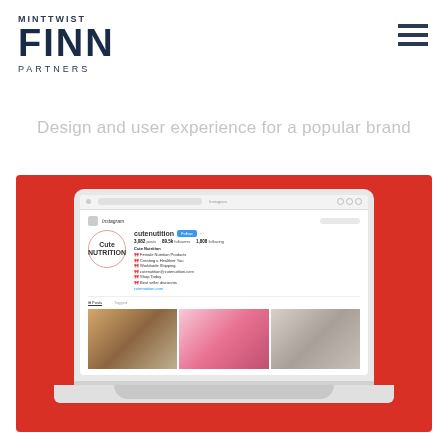[Figure (logo): MintTwist Finn Partners logo with hamburger menu icon]
Design and user experience for a popular brand
[Figure (screenshot): Laptop mockup showing a Cutenutition Instagram profile page on red background, with profile photo, stats, bio, and three grid photos]